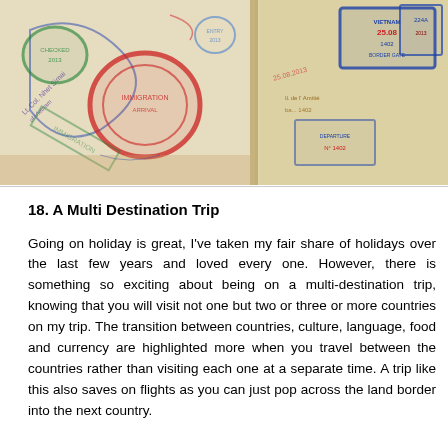[Figure (photo): A photo of open passport pages showing multiple visa stamps and entry/exit stamps in red, blue, green, and purple inks from various countries including Vietnam. The passport pages show colorful overlapping stamps on cream/yellow tinted pages.]
18. A Multi Destination Trip
Going on holiday is great, I've taken my fair share of holidays over the last few years and loved every one. However, there is something so exciting about being on a multi-destination trip, knowing that you will visit not one but two or three or more countries on my trip. The transition between countries, culture, language, food and currency are highlighted more when you travel between the countries rather than visiting each one at a separate time. A trip like this also saves on flights as you can just pop across the land border into the next country.